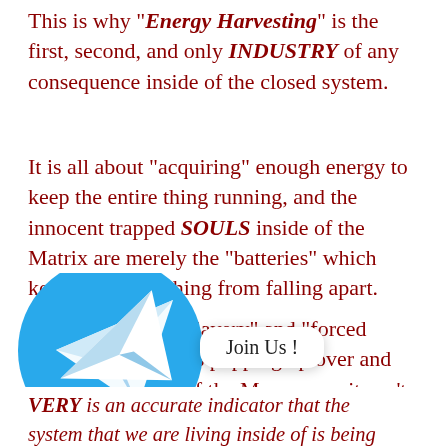This is why “Energy Harvesting” is the first, second, and only INDUSTRY of any consequence inside of the closed system.
It is all about “acquiring” enough energy to keep the entire thing running, and the innocent trapped SOULS inside of the Matrix are merely the “batteries” which keep the whole thing from falling apart.
This is also why “slavery” and “forced labor” always keeps popping up over and over again inside of the Matrix, and it can’t seem to get stomped out for good.
[Figure (logo): Telegram logo circle (blue with white paper plane icon) with a 'Join Us!' speech bubble overlay]
VERY is an accurate indicator that the system that we are living inside of is being